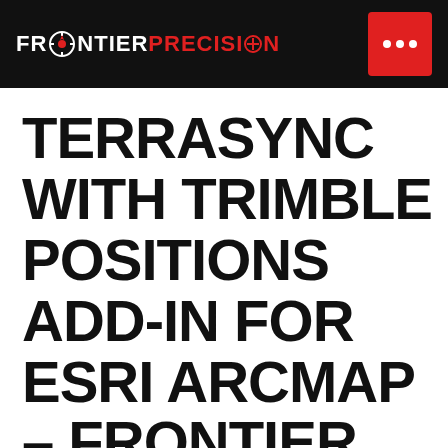FRONTIER PRECISION
TERRASYNC WITH TRIMBLE POSITIONS ADD-IN FOR ESRI ARCMAP – FRONTIER MGIS TRAINING 2017